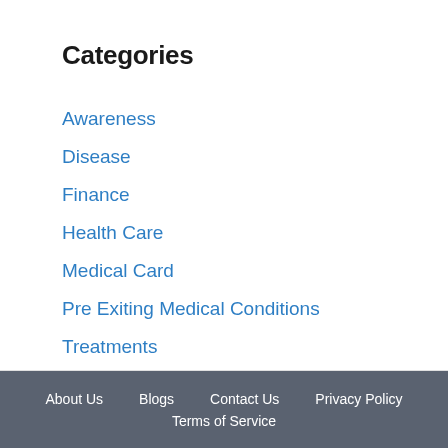Categories
Awareness
Disease
Finance
Health Care
Medical Card
Pre Exiting Medical Conditions
Treatments
About Us  Blogs  Contact Us  Privacy Policy  Terms of Service